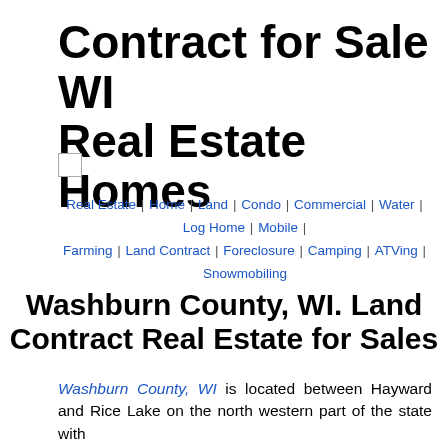Contract for Sale WI Real Estate Homes
[Figure (other): Small empty checkbox square]
Real Estate | Home | Land | Condo | Commercial | Water | Log Home | Mobile | Farming | Land Contract | Foreclosure | Camping | ATVing | Snowmobiling
Washburn County, WI. Land Contract Real Estate for Sales
Washburn County, WI is located between Hayward and Rice Lake on the north western part of the state with